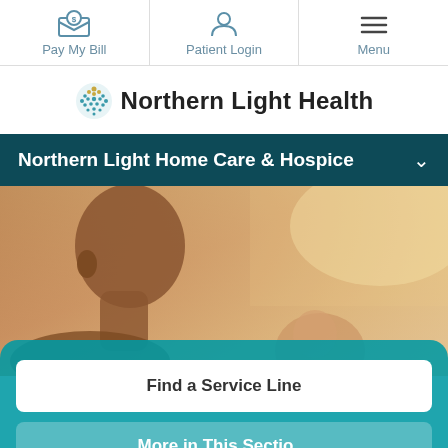Pay My Bill | Patient Login | Menu
[Figure (logo): Northern Light Health logo with stylized compass/snowflake icon in teal and gold colors]
Northern Light Home Care & Hospice
[Figure (photo): Close-up photo of a person (presumably a caregiver or patient) seen from behind/side, with warm golden light in background]
Find a Service Line
More in This Section